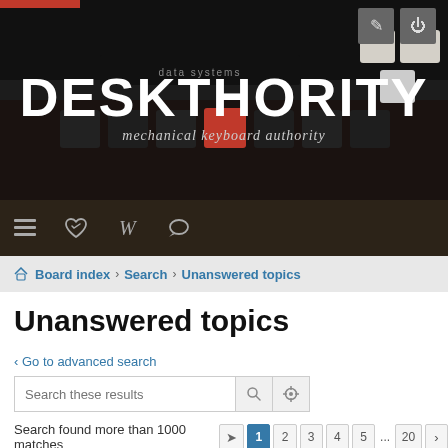[Figure (photo): Deskthority website screenshot header with mechanical keyboard background photo. Shows DESKTHORITY logo in white bold text and tagline 'mechanical keyboard authority' below it. Dark keyboard keys visible in background.]
DESKTHORITY
mechanical keyboard authority
Board index › Search › Unanswered topics
Unanswered topics
‹ Go to advanced search
Search these results
Search found more than 1000 matches  1  2  3  4  5  ...  20  >